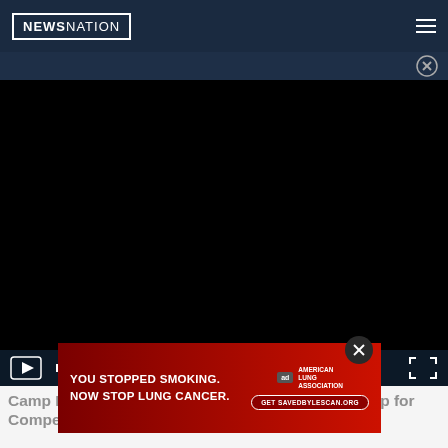NEWSNATION
[Figure (screenshot): Dark video player area showing a black screen with video controls at bottom including play button and mute button on the left, and fullscreen button on the right]
Camp Lejeune Residents (1953 – 1987) Can Sign Up for Compensation for Exposure
[Figure (infographic): Advertisement for American Lung Association: YOU STOPPED SMOKING. NOW STOP LUNG CANCER. Get SAVEDBYLESCAN.ORG with red background and ALA logo]